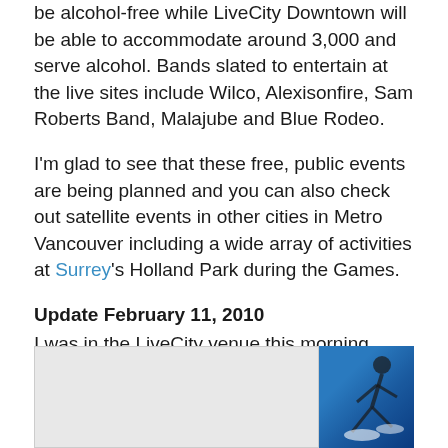be alcohol-free while LiveCity Downtown will be able to accommodate around 3,000 and serve alcohol. Bands slated to entertain at the live sites include Wilco, Alexisonfire, Sam Roberts Band, Malajube and Blue Rodeo.
I'm glad to see that these free, public events are being planned and you can also check out satellite events in other cities in Metro Vancouver including a wide array of activities at Surrey's Holland Park during the Games.
Update February 11, 2010
I was in the LiveCity venue this morning before it officially opened to the public this evening for the Torch Relay in Vancouver:
[Figure (photo): Two-part image: a large light gray area on the left and a photo on the right showing a skier in action against a blue background]